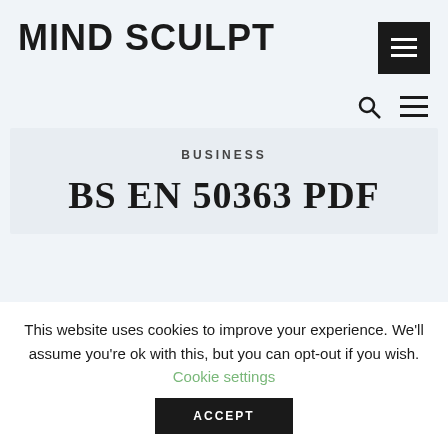MIND SCULPT
[Figure (other): Hamburger menu button (dark square with three horizontal white lines)]
[Figure (other): Search icon (magnifying glass) and menu icon (three horizontal lines) in navigation bar]
BUSINESS
BS EN 50363 PDF
This website uses cookies to improve your experience. We'll assume you're ok with this, but you can opt-out if you wish. Cookie settings
ACCEPT